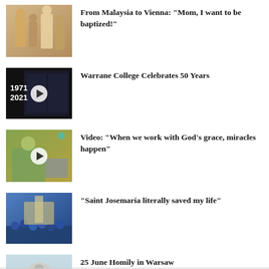From Malaysia to Vienna: "Mom, I want to be baptized!"
Warrane College Celebrates 50 Years
Video: "When we work with God's grace, miracles happen"
“Saint Josemaría literally saved my life”
25 June Homily in Warsaw